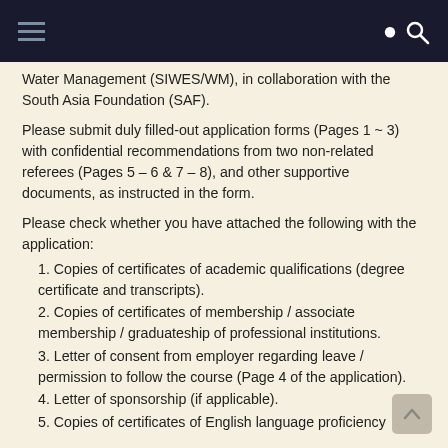[Navigation bar with hamburger menu and search icon]
Water Management (SIWES/WM), in collaboration with the South Asia Foundation (SAF).
Please submit duly filled-out application forms (Pages 1 ~ 3) with confidential recommendations from two non-related referees (Pages 5 – 6 & 7 – 8), and other supportive documents, as instructed in the form.
Please check whether you have attached the following with the application:
1. Copies of certificates of academic qualifications (degree certificate and transcripts).
2. Copies of certificates of membership / associate membership / graduateship of professional institutions.
3. Letter of consent from employer regarding leave / permission to follow the course (Page 4 of the application).
4. Letter of sponsorship (if applicable).
5. Copies of certificates of English language proficiency